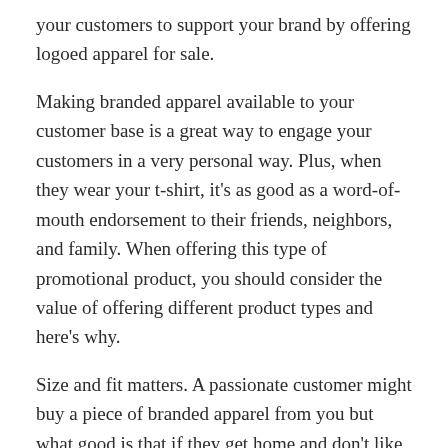your customers to support your brand by offering logoed apparel for sale.
Making branded apparel available to your customer base is a great way to engage your customers in a very personal way. Plus, when they wear your t-shirt, it’s as good as a word-of-mouth endorsement to their friends, neighbors, and family. When offering this type of promotional product, you should consider the value of offering different product types and here’s why.
Size and fit matters. A passionate customer might buy a piece of branded apparel from you but what good is that if they get home and don’t like how they look wearing the garment? If people don’t like what they see in the mirror, they’re not going to wear it no matter how much they like your business. Or worse, they could return it for a refund. People love t-shirts, and probably